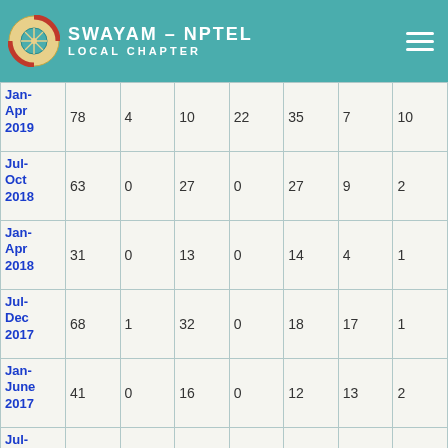SWAYAM - NPTEL LOCAL CHAPTER
| Period | Col1 | Col2 | Col3 | Col4 | Col5 | Col6 | Col7 |
| --- | --- | --- | --- | --- | --- | --- | --- |
| Jan-Apr 2019 | 78 | 4 | 10 | 22 | 35 | 7 | 10 |
| Jul-Oct 2018 | 63 | 0 | 27 | 0 | 27 | 9 | 2 |
| Jan-Apr 2018 | 31 | 0 | 13 | 0 | 14 | 4 | 1 |
| Jul-Dec 2017 | 68 | 1 | 32 | 0 | 18 | 17 | 1 |
| Jan-June 2017 | 41 | 0 | 16 | 0 | 12 | 13 | 2 |
| Jul-Dec 2016 | 105 | 0 | 49 | 0 | 30 | 26 | 1 |